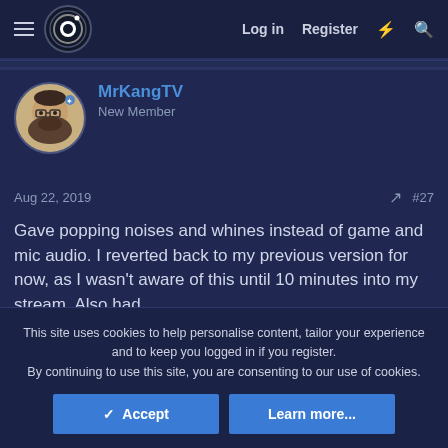Log in  Register
MrKangTV
New Member
Aug 22, 2019  #27
Gave popping noises and whines instead of game and mic audio. I reverted back to my previous version for now, as I wasn't aware of this until 10 minutes into my stream. Also had
This site uses cookies to help personalise content, tailor your experience and to keep you logged in if you register.
By continuing to use this site, you are consenting to our use of cookies.
✓ Accept   Learn more...